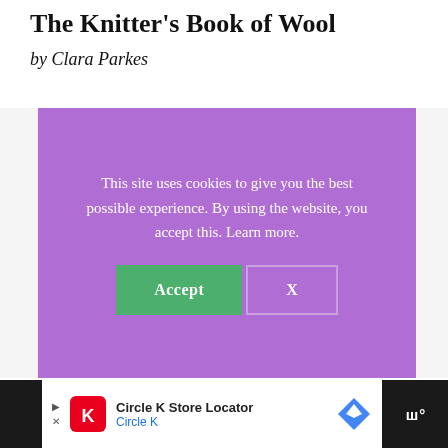The Knitter's Book of Wool
by Clara Parkes
[Figure (screenshot): Cookie consent modal overlay with purple background. Text reads: 'This site uses cookies to give you the best possible experience. By using the website, you accept this. Learn more.' Two buttons below: 'Accept' (green) and 'X' (outlined).]
[Figure (screenshot): Advertisement bar at bottom: Circle K Store Locator ad with Circle K logo, navigation icon, and Waze-style icon on the right.]